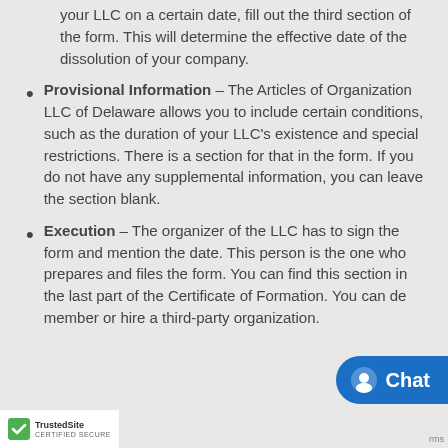your LLC on a certain date, fill out the third section of the form. This will determine the effective date of the dissolution of your company.
Provisional Information – The Articles of Organization LLC of Delaware allows you to include certain conditions, such as the duration of your LLC's existence and special restrictions. There is a section for that in the form. If you do not have any supplemental information, you can leave the section blank.
Execution – The organizer of the LLC has to sign the form and mention the date. This person is the one who prepares and files the form. You can find this section in the last part of the Certificate of Formation. You can de... member or hire a third-party organization.